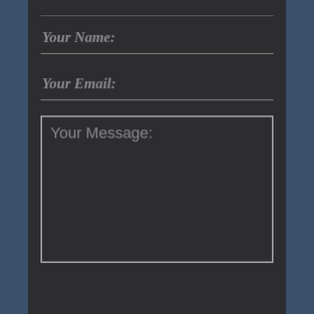Your Name:
Your Email:
Your Message: